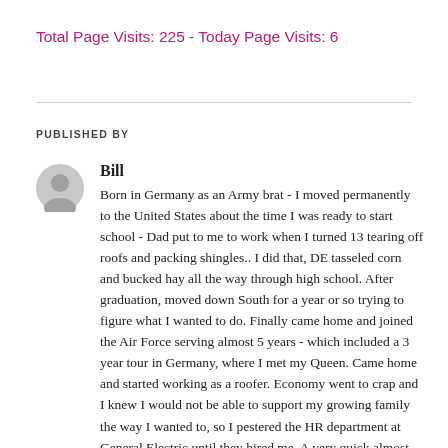Total Page Visits: 225 - Today Page Visits: 6
PUBLISHED BY
Bill
Born in Germany as an Army brat - I moved permanently to the United States about the time I was ready to start school - Dad put to me to work when I turned 13 tearing off roofs and packing shingles.. I did that, DE tasseled corn and bucked hay all the way through high school. After graduation, moved down South for a year or so trying to figure what I wanted to do. Finally came home and joined the Air Force serving almost 5 years - which included a 3 year tour in Germany, where I met my Queen. Came home and started working as a roofer. Economy went to crap and I knew I would not be able to support my growing family the way I wanted to, so I pestered the HR department at General Electric until they hired me. A very quick almost 34 years, 4 Daughters and 9 Grandkids later -